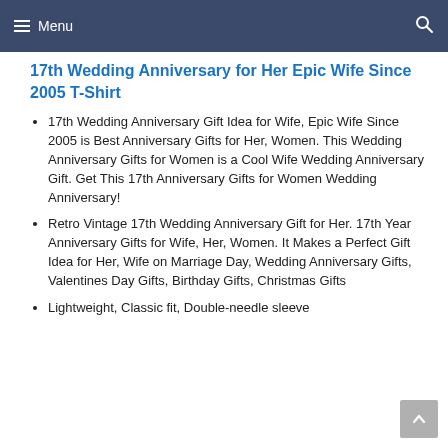Menu
17th Wedding Anniversary for Her Epic Wife Since 2005 T-Shirt
17th Wedding Anniversary Gift Idea for Wife, Epic Wife Since 2005 is Best Anniversary Gifts for Her, Women. This Wedding Anniversary Gifts for Women is a Cool Wife Wedding Anniversary Gift. Get This 17th Anniversary Gifts for Women Wedding Anniversary!
Retro Vintage 17th Wedding Anniversary Gift for Her. 17th Year Anniversary Gifts for Wife, Her, Women. It Makes a Perfect Gift Idea for Her, Wife on Marriage Day, Wedding Anniversary Gifts, Valentines Day Gifts, Birthday Gifts, Christmas Gifts
Lightweight, Classic fit, Double-needle sleeve